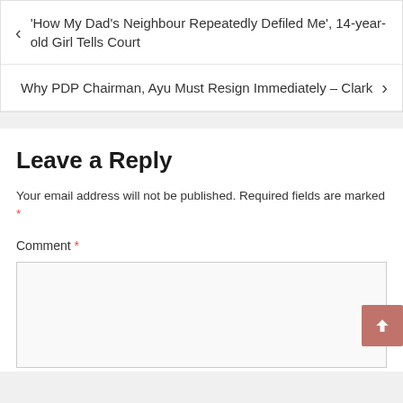< 'How My Dad's Neighbour Repeatedly Defiled Me', 14-year-old Girl Tells Court
Why PDP Chairman, Ayu Must Resign Immediately – Clark >
Leave a Reply
Your email address will not be published. Required fields are marked *
Comment *